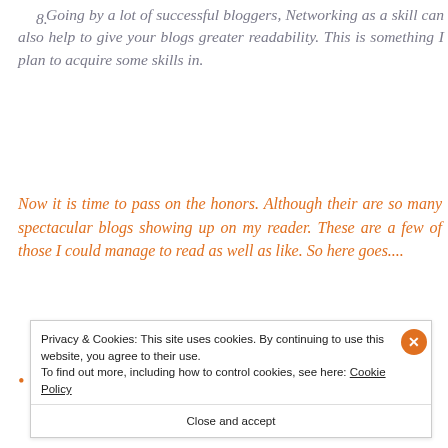8. Going by a lot of successful bloggers, Networking as a skill can also help to give your blogs greater readability. This is something I plan to acquire some skills in.
Now it is time to pass on the honors. Although their are so many spectacular blogs showing up on my reader. These are a few of those I could manage to read as well as like. So here goes....
https://booksvertigoandtea.wordpress.com/
Privacy & Cookies: This site uses cookies. By continuing to use this website, you agree to their use. To find out more, including how to control cookies, see here: Cookie Policy
Close and accept